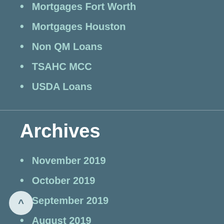Mortgages Fort Worth
Mortgages Houston
Non QM Loans
TSAHC MCC
USDA Loans
Archives
November 2019
October 2019
September 2019
August 2019
July 2019
April 2019